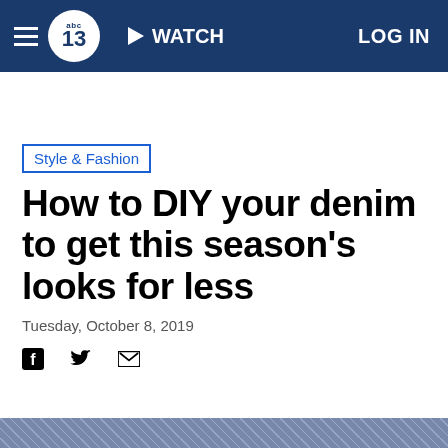abc13 | WATCH | LOG IN
Style & Fashion
How to DIY your denim to get this season's looks for less
Tuesday, October 8, 2019
[Figure (other): Social share icons: Facebook, Twitter, Email]
[Figure (photo): Partial bottom image strip showing denim fabric]